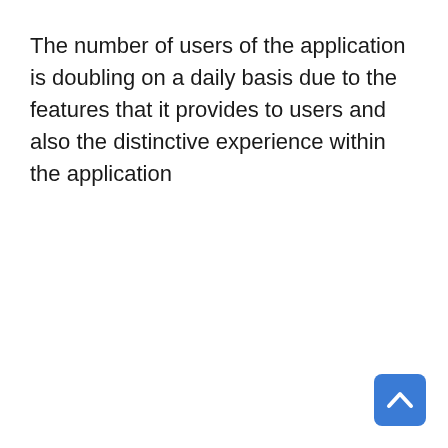The number of users of the application is doubling on a daily basis due to the features that it provides to users and also the distinctive experience within the application
[Figure (other): Blue rounded square button with an upward-pointing caret/chevron arrow icon, positioned at the bottom-right corner of the page.]